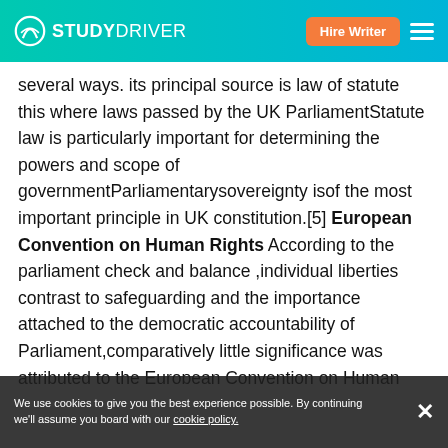STUDYDRIVER | Hire Writer
several ways. its principal source is law of statute this where laws passed by the UK ParliamentStatute law is particularly important for determining the powers and scope of governmentParliamentarysovereignty isof the most important principle in UK constitution.[5] European Convention on Human Rights According to the parliament check and balance ,individual liberties contrast to safeguarding and the importance attached to the democratic accountability of Parliament,comparatively little significance was attributed to the European Convention on Human Rights[6] There had been very little change in the British constitution before the United Kingdom's accession to the European Community in 1973 Real power was concentrated in the government, subject to what has turned out to be a de facto system of check and balances[7] European Convention was the key step for drafting domestic laws before the Human rights Act
We use cookies to give you the best experience possible. By continuing we'll assume you board with our cookie policy.